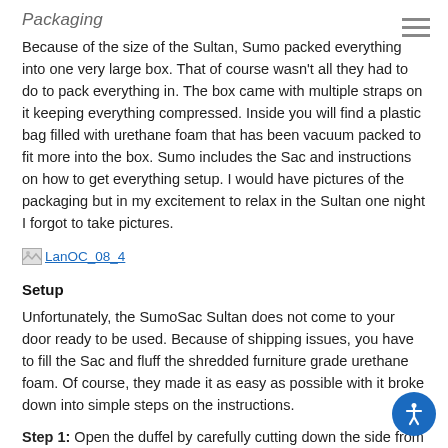Packaging
Because of the size of the Sultan, Sumo packed everything into one very large box. That of course wasn't all they had to do to pack everything in. The box came with multiple straps on it keeping everything compressed. Inside you will find a plastic bag filled with urethane foam that has been vacuum packed to fit more into the box. Sumo includes the Sac and instructions on how to get everything setup. I would have pictures of the packaging but in my excitement to relax in the Sultan one night I forgot to take pictures.
[Figure (photo): Image placeholder labeled LanOC_08_4]
Setup
Unfortunately, the SumoSac Sultan does not come to your door ready to be used. Because of shipping issues, you have to fill the Sac and fluff the shredded furniture grade urethane foam. Of course, they made it as easy as possible with it broke down into simple steps on the instructions.
Step 1: Open the duffel by carefully cutting down the side from the opening at the top. This requires some muscle. This will open the sac